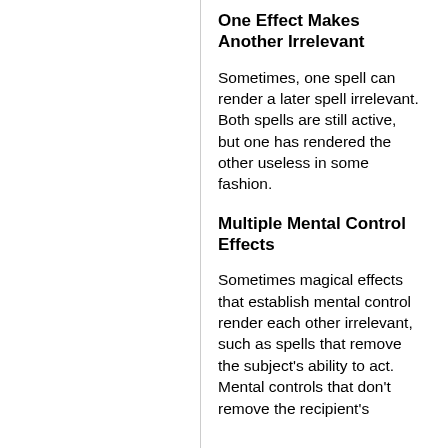One Effect Makes Another Irrelevant
Sometimes, one spell can render a later spell irrelevant. Both spells are still active, but one has rendered the other useless in some fashion.
Multiple Mental Control Effects
Sometimes magical effects that establish mental control render each other irrelevant, such as spells that remove the subject’s ability to act. Mental controls that don’t remove the recipient’s